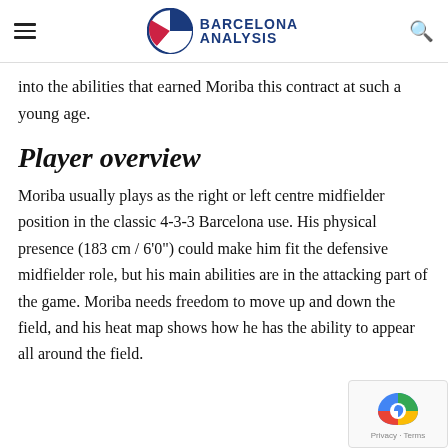Barcelona Analysis
into the abilities that earned Moriba this contract at such a young age.
Player overview
Moriba usually plays as the right or left centre midfielder position in the classic 4-3-3 Barcelona use. His physical presence (183 cm / 6'0") could make him fit the defensive midfielder role, but his main abilities are in the attacking part of the game. Moriba needs freedom to move up and down the field, and his heat map shows how he has the ability to appear all around the field.